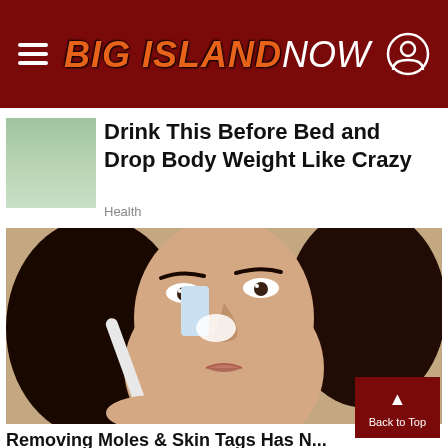BIG ISLAND NOW
[Figure (photo): Small thumbnail image of food or drink related to weight loss article]
Drink This Before Bed and Drop Body Weight Like Crazy
Health
[Figure (photo): Woman applying white substance on nose with a toothbrush, close-up facial photograph]
Removing Moles & Skin Tags Has N...